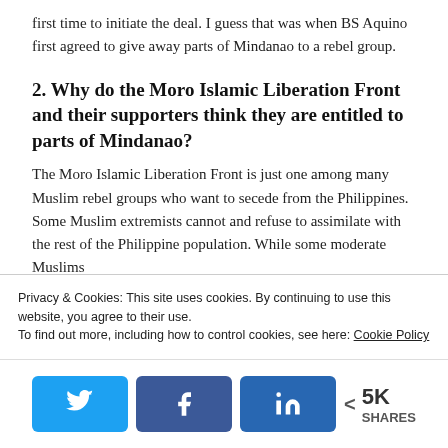first time to initiate the deal. I guess that was when BS Aquino first agreed to give away parts of Mindanao to a rebel group.
2. Why do the Moro Islamic Liberation Front and their supporters think they are entitled to parts of Mindanao?
The Moro Islamic Liberation Front is just one among many Muslim rebel groups who want to secede from the Philippines. Some Muslim extremists cannot and refuse to assimilate with the rest of the Philippine population. While some moderate Muslims
Privacy & Cookies: This site uses cookies. By continuing to use this website, you agree to their use.
To find out more, including how to control cookies, see here: Cookie Policy